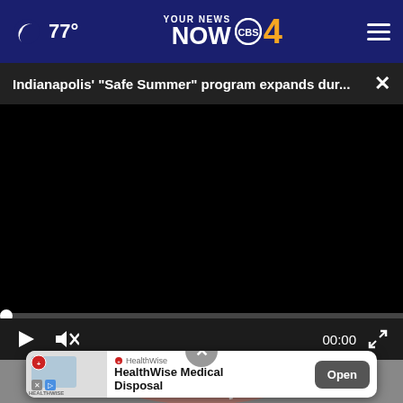🌙 77° — YOUR NEWS NOW CBS 4 (navigation bar)
Indianapolis' "Safe Summer" program expands dur...
[Figure (screenshot): Video player showing a black screen with playback controls: play button, mute button, timestamp 00:00, and fullscreen icon. Progress bar at bottom with dot at start position.]
[Figure (photo): Close-up photo of a person's lips with a swab, partially visible behind an ad banner.]
HealthWise
HealthWise Medical Disposal
Open